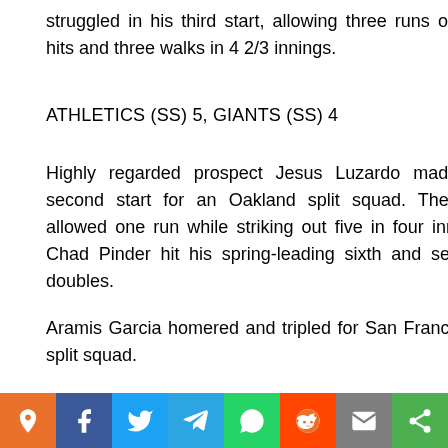struggled in his third start, allowing three runs on five hits and three walks in 4 2/3 innings.
ATHLETICS (SS) 5, GIANTS (SS) 4
Highly regarded prospect Jesus Luzardo made his second start for an Oakland split squad. The lefty allowed one run while striking out five in four innings. Chad Pinder hit his spring-leading sixth and seventh doubles.
Aramis Garcia homered and tripled for San Francisco's split squad.
RANGERS 7, GIANTS (SS) 6
Hunter Pence homered and singled twice for Texas against his former team. Drew Smyly made his third start, allo